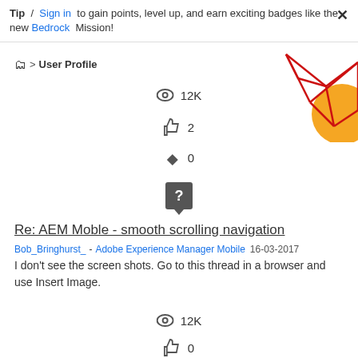Tip / Sign in to gain points, level up, and earn exciting badges like the new Bedrock Mission!
User Profile
[Figure (illustration): Decorative geometric illustration with red lines and orange circle in top-right corner]
👁 12K
👍 2
↩ 0
[Figure (other): User avatar placeholder: dark grey box with white question mark and speech bubble indicator]
Re: AEM Moble - smooth scrolling navigation
Bob_Bringhurst_ - Adobe Experience Manager Mobile 16-03-2017
I don't see the screen shots. Go to this thread in a browser and use Insert Image.
👁 12K
👍 0